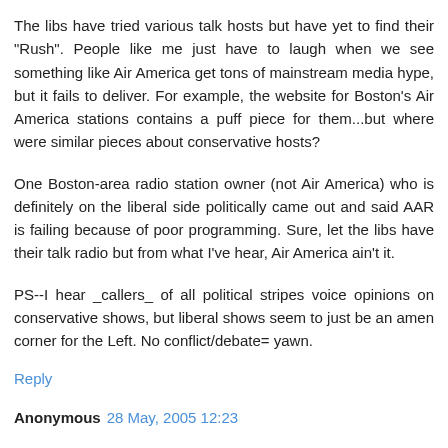The libs have tried various talk hosts but have yet to find their "Rush". People like me just have to laugh when we see something like Air America get tons of mainstream media hype, but it fails to deliver. For example, the website for Boston's Air America stations contains a puff piece for them...but where were similar pieces about conservative hosts?
One Boston-area radio station owner (not Air America) who is definitely on the liberal side politically came out and said AAR is failing because of poor programming. Sure, let the libs have their talk radio but from what I've hear, Air America ain't it.
PS--I hear _callers_ of all political stripes voice opinions on conservative shows, but liberal shows seem to just be an amen corner for the Left. No conflict/debate= yawn.
Reply
Anonymous 28 May, 2005 12:23